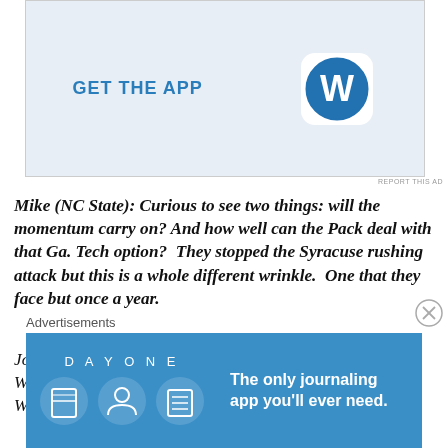[Figure (other): WordPress 'GET THE APP' advertisement banner with blue WordPress logo icon on light blue background]
REPORT THIS AD
Mike (NC State): Curious to see two things: will the momentum carry on? And how well can the Pack deal with that Ga. Tech option?  They stopped the Syracuse rushing attack but this is a whole different wrinkle.  One that they face but once a year.
John (UNC):  I'm excited that it's a bye week for the Heels.  Whatever is going on with the team needs to be addressed. With three games left, and two wins needed
Advertisements
[Figure (other): Day One journaling app advertisement: 'The only journaling app you'll ever need.' on blue background with app icon characters]